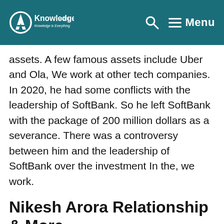AKnowledge.com — Menu
assets. A few famous assets include Uber and Ola, We work at other tech companies. In 2020, he had some conflicts with the leadership of SoftBank. So he left SoftBank with the package of 200 million dollars as a severance. There was a controversy between him and the leadership of SoftBank over the investment In the, we work.
Nikesh Arora Relationship & More